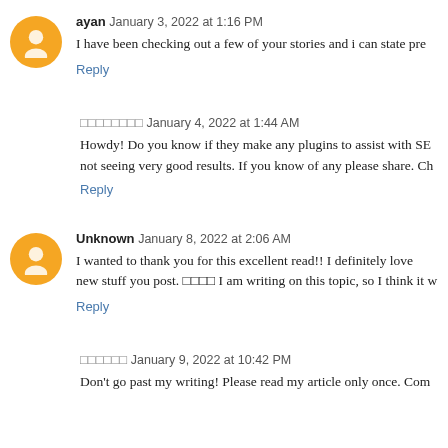ayan January 3, 2022 at 1:16 PM
I have been checking out a few of your stories and i can state pre
Reply
January 4, 2022 at 1:44 AM
Howdy! Do you know if they make any plugins to assist with SE not seeing very good results. If you know of any please share. Ch
Reply
Unknown January 8, 2022 at 2:06 AM
I wanted to thank you for this excellent read!! I definitely love new stuff you post. ☐☐☐☐ I am writing on this topic, so I think it w
Reply
January 9, 2022 at 10:42 PM
Don't go past my writing! Please read my article only once. Com